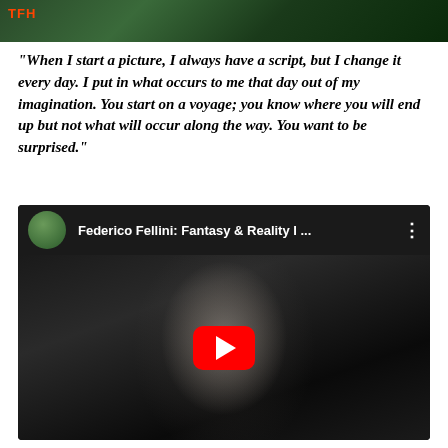[Figure (screenshot): Top banner image with dark green background and red 'TFH' text overlay]
“When I start a picture, I always have a script, but I change it every day. I put in what occurs to me that day out of my imagination. You start on a voyage; you know where you will end up but not what will occur along the way. You want to be surprised.”
[Figure (screenshot): YouTube video embed: Federico Fellini: Fantasy & Reality I ... with a black and white thumbnail of a woman's face and a red YouTube play button in the center]